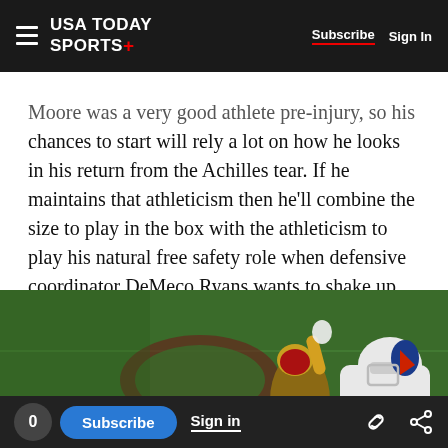USA TODAY SPORTS+  Subscribe  Sign In
Moore was a very good athlete pre-injury, so his chances to start will rely a lot on how he looks in his return from the Achilles tear. If he maintains that athleticism then he'll combine the size to play in the box with the athleticism to play his natural free safety role when defensive coordinator DeMeco Ryans wants to shake up coverages.
[Figure (photo): NFL football game action photo showing a San Francisco 49ers player and a Buffalo Bills player in white helmet on a green field]
0  Subscribe  Sign in